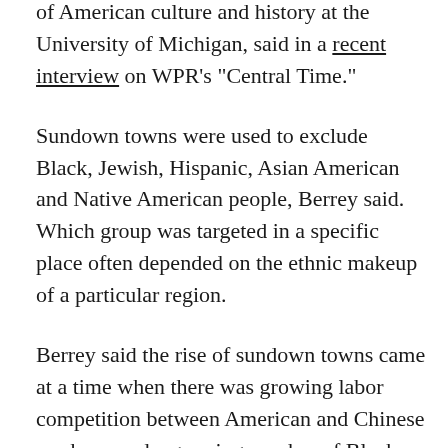of American culture and history at the University of Michigan, said in a recent interview on WPR's "Central Time."
Sundown towns were used to exclude Black, Jewish, Hispanic, Asian American and Native American people, Berrey said. Which group was targeted in a specific place often depended on the ethnic makeup of a particular region.
Berrey said the rise of sundown towns came at a time when there was growing labor competition between American and Chinese workers, and a growing number of Black people moving North to flee racial violence as part of the